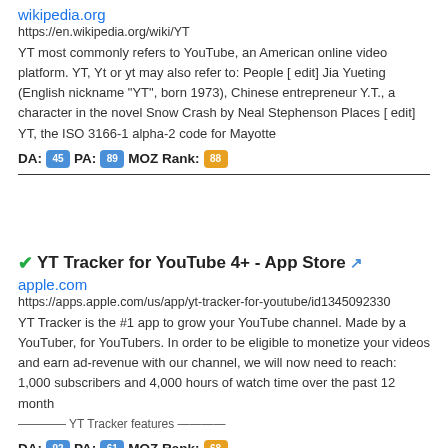wikipedia.org
https://en.wikipedia.org/wiki/YT
YT most commonly refers to YouTube, an American online video platform. YT, Yt or yt may also refer to: People [ edit] Jia Yueting (English nickname "YT", born 1973), Chinese entrepreneur Y.T., a character in the novel Snow Crash by Neal Stephenson Places [ edit] YT, the ISO 3166-1 alpha-2 code for Mayotte
DA: 45 PA: 89 MOZ Rank: 88
YT Tracker for YouTube 4+ - App Store
apple.com
https://apps.apple.com/us/app/yt-tracker-for-youtube/id1345092330
YT Tracker is the #1 app to grow your YouTube channel. Made by a YouTuber, for YouTubers. In order to be eligible to monetize your videos and earn ad-revenue with our channel, we will now need to reach: 1,000 subscribers and 4,000 hours of watch time over the past 12 month —— YT Tracker features ——
DA: 92 PA: 61 MOZ Rank: 68